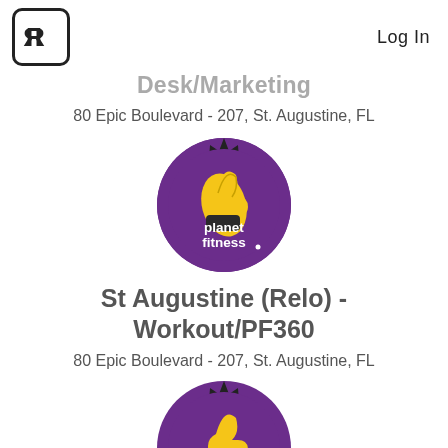Log In
Desk/Marketing
80 Epic Boulevard - 207, St. Augustine, FL
[Figure (logo): Planet Fitness purple circle logo with thumbs up gear icon]
St Augustine (Relo) - Workout/PF360
80 Epic Boulevard - 207, St. Augustine, FL
[Figure (logo): Planet Fitness purple circle logo with thumbs up gear icon (partial, bottom)]